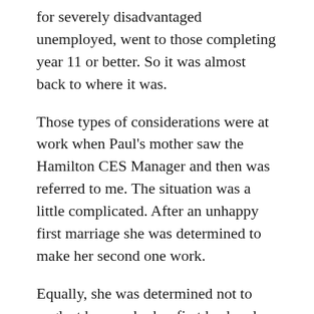for severely disadvantaged unemployed, went to those completing year 11 or better. So it was almost back to where it was.
Those types of considerations were at work when Paul's mother saw the Hamilton CES Manager and then was referred to me. The situation was a little complicated. After an unhappy first marriage she was determined to make her second one work.
Equally, she was determined not to neglect her son by her first husband. He had settled uneasily into the new household, complicated also by the troubled times of early adolescence.
Paul was not openly hostile, but rather silent